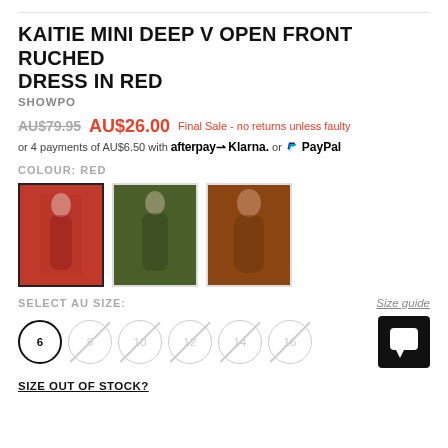KAITIE MINI DEEP V OPEN FRONT RUCHED DRESS IN RED
SHOWPO
AU$79.95  AU$26.00  Final Sale - no returns unless faulty
or 4 payments of AU$6.50 with afterpay Klarna. or PayPal
COLOUR: RED
[Figure (photo): Three dress color variant swatches: red (selected), dark green, brown/rust]
SELECT AU SIZE:
Size guide
Size circles: 6 (available), 8 (unavailable), 10 (unavailable), 12 (unavailable), 14 (unavailable), 16 (unavailable)
SIZE OUT OF STOCK?